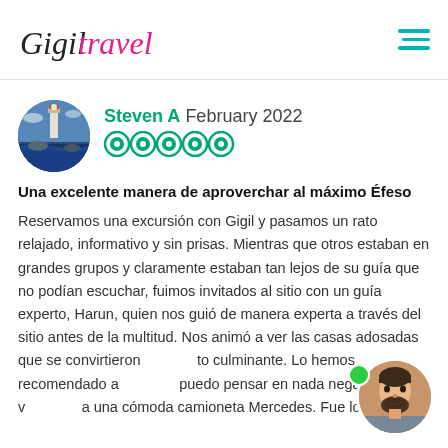Gigil Travel — navigation header with hamburger menu
[Figure (photo): Circular avatar of a coastal lighthouse scene, used as reviewer profile picture]
Steven A  February 2022
[Figure (other): Five TripAdvisor-style green circle rating icons indicating 5-star review]
Una excelente manera de aproverchar al máximo Éfeso
Reservamos una excursión con Gigil y pasamos un rato relajado, informativo y sin prisas. Mientras que otros estaban en grandes grupos y claramente estaban tan lejos de su guía que no podían escuchar, fuimos invitados al sitio con un guía experto, Harun, quien nos guió de manera experta a través del sitio antes de la multitud. Nos animó a ver las casas adosadas que se convirtieron to culminante. Lo hemos recomendado a puedo pensar en nada negativo. Ah, y v a una cómoda camioneta Mercedes. Fue lo más
[Figure (photo): Circular avatar of a smiling bearded man, partially overlapping the review text]